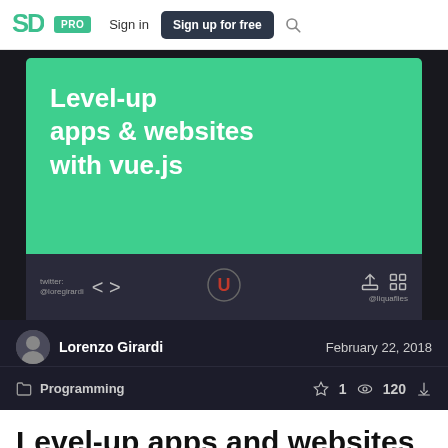SpeakerDeck — PRO  Sign in  Sign up for free
[Figure (screenshot): Slide preview showing 'Level-up apps & websites with vue.js' on green background with navigation controls]
Lorenzo Girardi   February 22, 2018
Programming   ☆ 1  👁 120  ⬇
Level-up apps and websites with vue.js